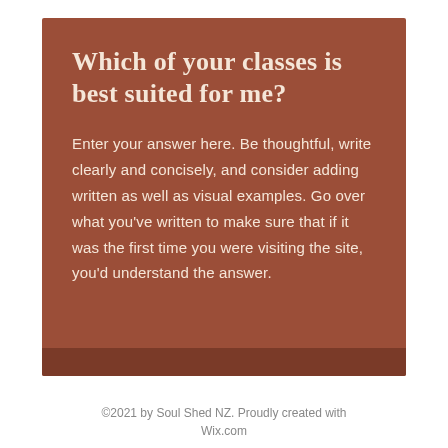Which of your classes is best suited for me?
Enter your answer here. Be thoughtful, write clearly and concisely, and consider adding written as well as visual examples. Go over what you've written to make sure that if it was the first time you were visiting the site, you'd understand the answer.
©2021 by Soul Shed NZ. Proudly created with Wix.com